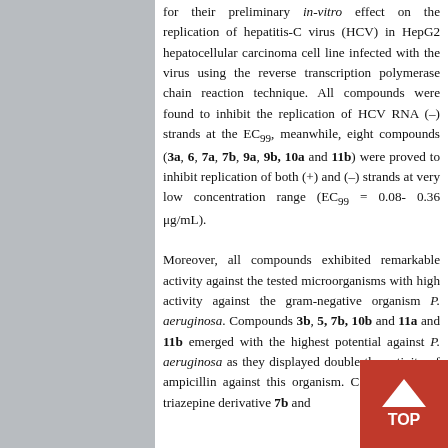for their preliminary in-vitro effect on the replication of hepatitis-C virus (HCV) in HepG2 hepatocellular carcinoma cell line infected with the virus using the reverse transcription polymerase chain reaction technique. All compounds were found to inhibit the replication of HCV RNA (–) strands at the EC99, meanwhile, eight compounds (3a, 6, 7a, 7b, 9a, 9b, 10a and 11b) were proved to inhibit replication of both (+) and (–) strands at very low concentration range (EC99 = 0.08- 0.36 μg/mL). Moreover, all compounds exhibited remarkable activity against the tested microorganisms with high activity against the gram-negative organism P. aeruginosa. Compounds 3b, 5, 7b, 10b and 11a and 11b emerged with the highest potential against P. aeruginosa as they displayed double the activity of ampicillin against this organism. Collectively, the triazepine derivative 7b and